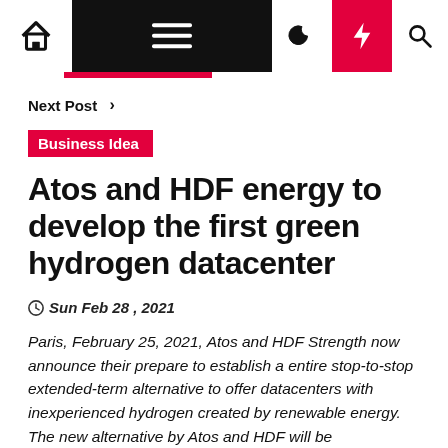Home | Menu | Dark mode | Lightning | Search
Next Post >
Business Idea
Atos and HDF energy to develop the first green hydrogen datacenter
Sun Feb 28 , 2021
Paris, February 25, 2021, Atos and HDF Strength now announce their prepare to establish a entire stop-to-stop extended-term alternative to offer datacenters with inexperienced hydrogen created by renewable energy. The new alternative by Atos and HDF will be